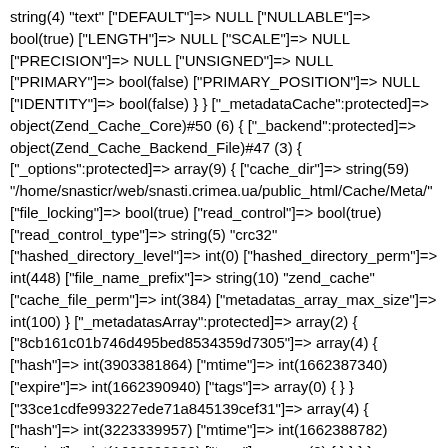string(4) "text" ["DEFAULT"]=> NULL ["NULLABLE"]=> bool(true) ["LENGTH"]=> NULL ["SCALE"]=> NULL ["PRECISION"]=> NULL ["UNSIGNED"]=> NULL ["PRIMARY"]=> bool(false) ["PRIMARY_POSITION"]=> NULL ["IDENTITY"]=> bool(false) } } ["_metadataCache":protected]=> object(Zend_Cache_Core)#50 (6) { ["_backend":protected]=> object(Zend_Cache_Backend_File)#47 (3) { ["_options":protected]=> array(9) { ["cache_dir"]=> string(59) "/home/snasticr/web/snasti.crimea.ua/public_html/Cache/Meta/" ["file_locking"]=> bool(true) ["read_control"]=> bool(true) ["read_control_type"]=> string(5) "crc32" ["hashed_directory_level"]=> int(0) ["hashed_directory_perm"]=> int(448) ["file_name_prefix"]=> string(10) "zend_cache" ["cache_file_perm"]=> int(384) ["metadatas_array_max_size"]=> int(100) } ["_metadatasArray":protected]=> array(2) { ["8cb161c01b746d495bed8534359d7305"]=> array(4) { ["hash"]=> int(3903381864) ["mtime"]=> int(1662387340) ["expire"]=> int(1662390940) ["tags"]=> array(0) { } } ["33ce1cdfe993227ede71a845139cef31"]=> array(4) { ["hash"]=> int(3223339957) ["mtime"]=> int(1662388782) ["expire"]=> int(1662392382) ["tags"]=> array(0) { } } } } ["_directives":protected]=> array(3) { ["lifetime"]=> int(3600) ["logging"]=> bool(false) ["logger"]=> NULL } } ["_options":protected]=> array(9) { ["write_control"]=> bool(true) ["caching"]=> bool(true) ["cache_id_prefix"]=> NULL